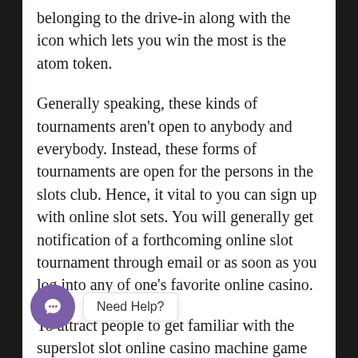belonging to the drive-in along with the icon which lets you win the most is the atom token.
Generally speaking, these kinds of tournaments aren't open to anybody and everybody. Instead, these forms of tournaments are open for the persons in the slots club. Hence, it vital to you can sign up with online slot sets. You will generally get notification of a forthcoming online slot tournament through email or as soon as you log into any of one's favorite online casino.
To attract people to get familiar with the superslot slot online casino machine game game, the members are more efficient opportunity to sign-or [Need Help?] s which are given by various casinos. The actual online version, one can take
[Figure (other): Chat widget with purple circular icon and 'Need Help?' tooltip label]